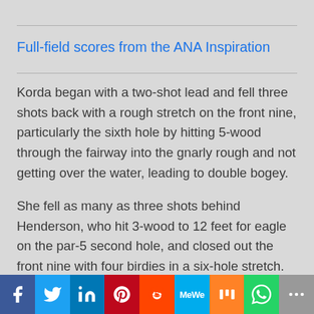Full-field scores from the ANA Inspiration
Korda began with a two-shot lead and fell three shots back with a rough stretch on the front nine, particularly the sixth hole by hitting 5-wood through the fairway into the gnarly rough and not getting over the water, leading to double bogey.
She fell as many as three shots behind Henderson, who hit 3-wood to 12 feet for eagle on the par-5 second hole, and closed out the front nine with four birdies in a six-hole stretch.
[Figure (other): Social media sharing toolbar with icons for Facebook, Twitter, LinkedIn, Pinterest, Reddit, MeWe, Mix, WhatsApp, and More]